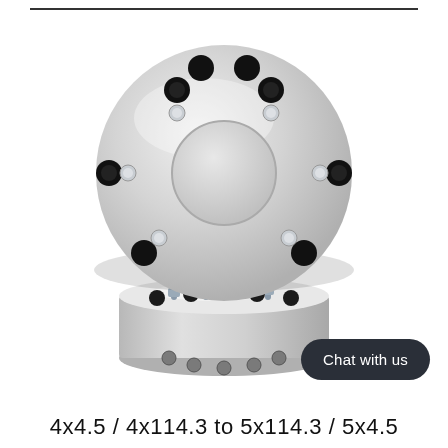[Figure (photo): Two aluminum wheel spacers stacked, showing circular disc shape with center bore hole and multiple lug bolt holes with black rubber inserts and silver lug bolts/studs visible from front and bottom angles.]
Chat with us
4x4.5 / 4x114.3 to 5x114.3 / 5x4.5